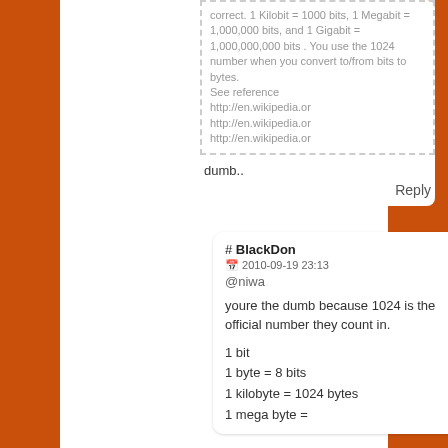correct. 1 Kilobit = 1000 bits, 1 Megabit = 1,000,000 bits, and 1 Gigabit = 1,000,000,000 bits . You use the 1024 number when you convert to/from bits to bytes.
See reference http://en.wikipedia.or http://en.wikipedia.or http://en.wikipedia.or
dumb..
Reply
# BlackDon
2010-09-19 23:13
@niwa
youre the dumb because 1024 is the official number they count in.

1 bit
1 byte = 8 bits
1 kilobyte = 1024 bytes
1 mega byte =